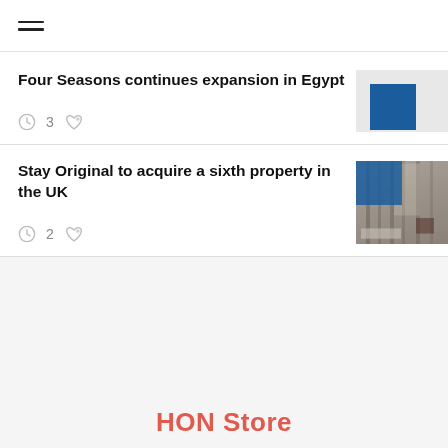Navigation menu (hamburger icon)
Four Seasons continues expansion in Egypt
3
[Figure (photo): Light gray placeholder image with a blue square logo in upper area]
Stay Original to acquire a sixth property in the UK
2
[Figure (photo): Hotel room interior with curtains and furniture, blue square logo overlay]
HON Store